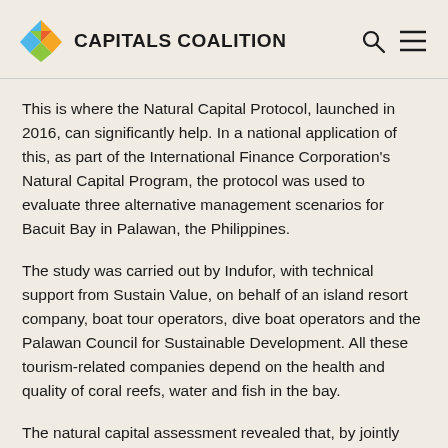CAPITALS COALITION
This is where the Natural Capital Protocol, launched in 2016, can significantly help. In a national application of this, as part of the International Finance Corporation's Natural Capital Program, the protocol was used to evaluate three alternative management scenarios for Bacuit Bay in Palawan, the Philippines.
The study was carried out by Indufor, with technical support from Sustain Value, on behalf of an island resort company, boat tour operators, dive boat operators and the Palawan Council for Sustainable Development. All these tourism-related companies depend on the health and quality of coral reefs, water and fish in the bay.
The natural capital assessment revealed that, by jointly